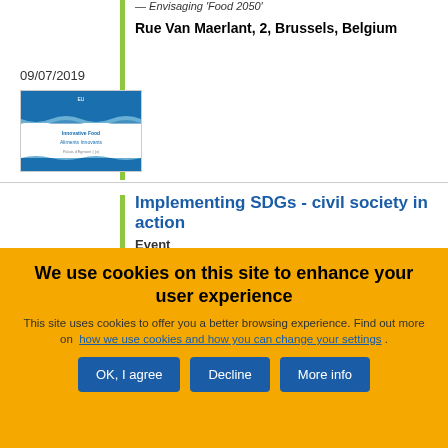— Envisaging 'Food 2050'
Rue Van Maerlant, 2, Brussels, Belgium
09/07/2019
[Figure (illustration): Thumbnail image of a document cover for Innovative Food / Aliments Innovants event, with blue header and wave design]
Implementing SDGs - civil society in action
Event
We use cookies on this site to enhance your user experience
This site uses cookies to offer you a better browsing experience. Find out more on how we use cookies and how you can change your settings .